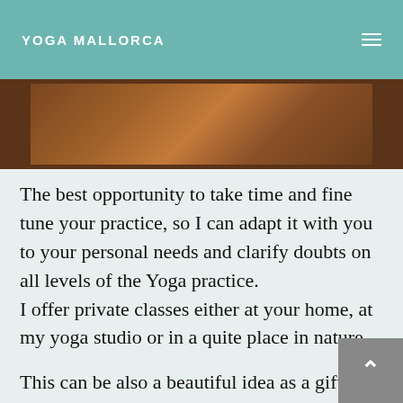YOGA MALLORCA
[Figure (photo): Close-up of a wooden surface with visible grain and planks, brown tones.]
The best opportunity to take time and fine tune your practice, so I can adapt it with you to your personal needs and clarify doubts on all levels of the Yoga practice.
I offer private classes either at your home, at my yoga studio or in a quite place in nature...
This can be also a beautiful idea as a gift for someone else...either a one to